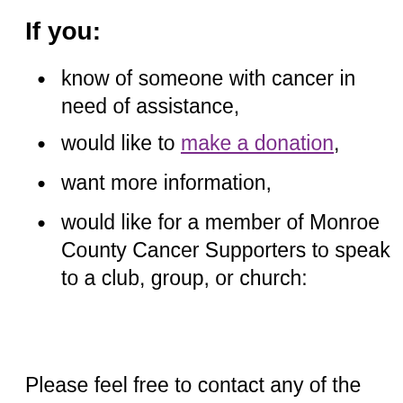If you:
know of someone with cancer in need of assistance,
would like to make a donation,
want more information,
would like for a member of Monroe County Cancer Supporters to speak to a club, group, or church:
Please feel free to contact any of the